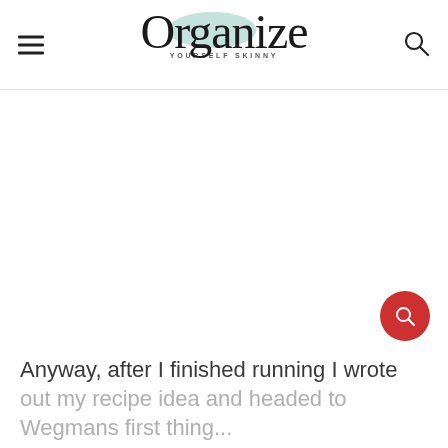Organize Yourself Skinny
[Figure (screenshot): White blank advertisement area]
Anyway, after I finished running I wrote out my recipe idea and headed to Wegmans first thing...